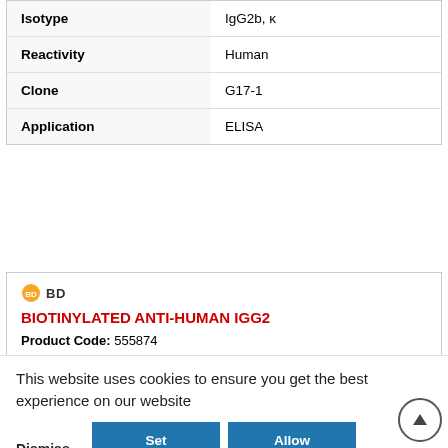| Property | Value |
| --- | --- |
| Isotype | IgG2b, κ |
| Reactivity | Human |
| Clone | G17-1 |
| Application | ELISA |
[Figure (logo): BD (Becton Dickinson) logo with orange circle icon and 'BD' text]
BIOTINYLATED ANTI-HUMAN IGG2
Product Code: 555874
| Size |  |
| --- | --- |
| Size | 0.5 mg |
This website uses cookies to ensure you get the best experience on our website
Dismiss | Set Prefrences | Allow Cookies